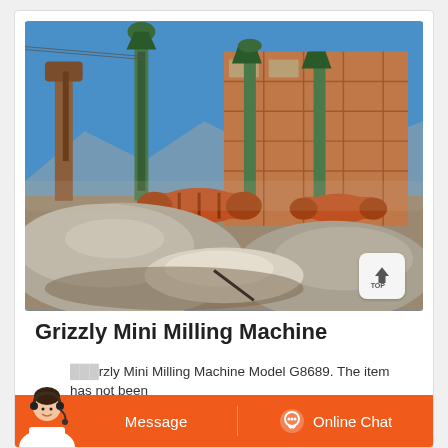[Figure (photo): Industrial mining/milling facility with large brick building in background, green vertical conveyor towers, orange cylindrical drum mixers/mills, and large mounds of grey mineral material in the foreground. Clear blue sky visible.]
Grizzly Mini Milling Machine
Grizzly Mini Milling Machine Model G8689. The item has not been